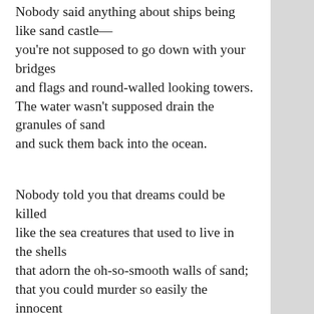Nobody said anything about ships being like sand castle—
you're not supposed to go down with your bridges
and flags and round-walled looking towers.
The water wasn't supposed drain the granules of sand
and suck them back into the ocean.

Nobody told you that dreams could be killed
like the sea creatures that used to live in the shells
that adorn the oh-so-smooth walls of sand;
that you could murder so easily the innocent
ideas that lurk in your mind, and let